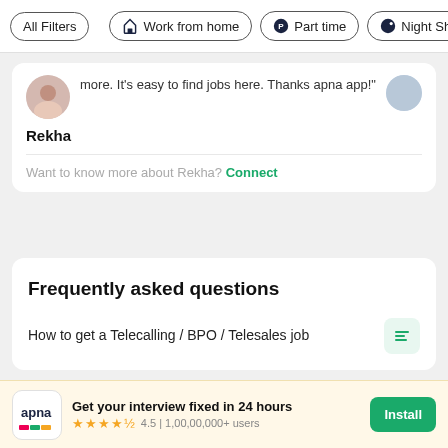All Filters | Work from home | Part time | Night Sh
more. It's easy to find jobs here. Thanks apna app!"
Rekha
Want to know more about Rekha? Connect
Frequently asked questions
How to get a Telecalling / BPO / Telesales job
Get your interview fixed in 24 hours
4.5 | 1,00,00,000+ users